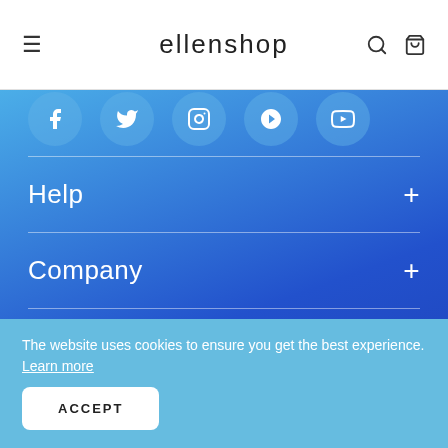ellenshop
[Figure (illustration): Social media icons (Facebook, Twitter, Instagram, Pinterest, YouTube) in light blue circles on a blue gradient background]
Help
Company
More From Ellen
The website uses cookies to ensure you get the best experience. Learn more
ACCEPT